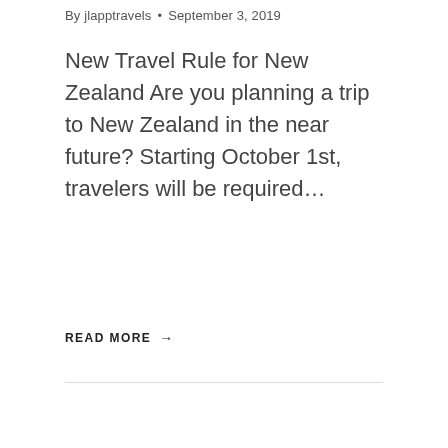By jlapptravels • September 3, 2019
New Travel Rule for New Zealand Are you planning a trip to New Zealand in the near future? Starting October 1st, travelers will be required…
READ MORE →